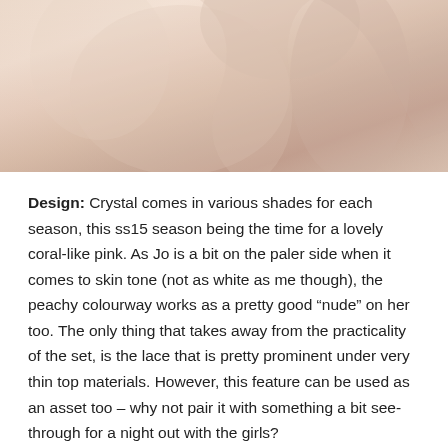[Figure (photo): Close-up photo of a person's torso and arm in a peachy/coral pink lingerie set against a light background]
Design: Crystal comes in various shades for each season, this ss15 season being the time for a lovely coral-like pink. As Jo is a bit on the paler side when it comes to skin tone (not as white as me though), the peachy colourway works as a pretty good “nude” on her too. The only thing that takes away from the practicality of the set, is the lace that is pretty prominent under very thin top materials. However, this feature can be used as an asset too – why not pair it with something a bit see-through for a night out with the girls?
The shape of the bra is rather pointy yet not very